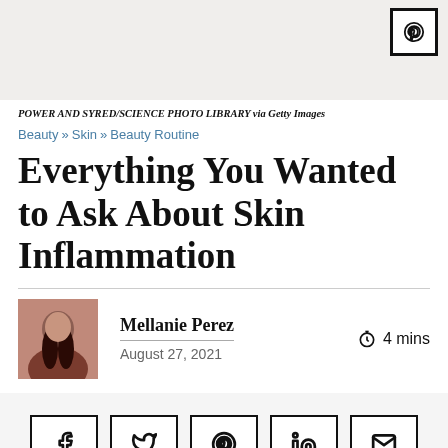[Figure (photo): Image placeholder with light beige background and Pinterest icon button in top-right corner]
POWER AND SYRED/SCIENCE PHOTO LIBRARY via Getty Images
Beauty » Skin » Beauty Routine
Everything You Wanted to Ask About Skin Inflammation
Mellanie Perez · August 27, 2021 · 4 mins
[Figure (photo): Author photo of Mellanie Perez]
Share icons: Facebook, Twitter, Pinterest, LinkedIn, Email